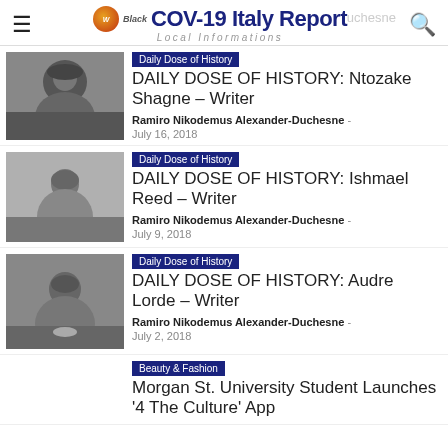COV-19 Italy Report – Local Informations
[Figure (photo): Black and white photo of Ntozake Shange, a woman wearing a hat]
Daily Dose of History | DAILY DOSE OF HISTORY: Ntozake Shagne – Writer | Ramiro Nikodemus Alexander-Duchesne – July 16, 2018
[Figure (photo): Black and white photo of Ishmael Reed, an older man]
Daily Dose of History | DAILY DOSE OF HISTORY: Ishmael Reed – Writer | Ramiro Nikodemus Alexander-Duchesne – July 9, 2018
[Figure (photo): Black and white photo of Audre Lorde, a woman smiling]
Daily Dose of History | DAILY DOSE OF HISTORY: Audre Lorde – Writer | Ramiro Nikodemus Alexander-Duchesne – July 2, 2018
Beauty & Fashion | Morgan St. University Student Launches '4 The Culture' App